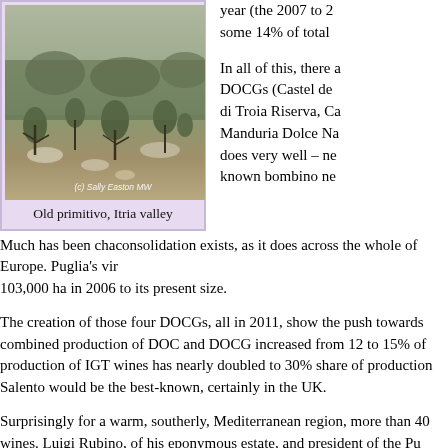[Figure (photo): Old primitivo vines in the Itria valley, with rocky terrain and sparse vegetation. Photo credit: (c) Sally Easton MW]
Old primitivo, Itria valley
year (the 2007 to 2… some 14% of total…
In all of this, there a… DOCGs (Castel de… di Troia Riserva, Ca… Manduria Dolce Na… does very well – ne… known bombino ne…
Much has been cha… consolidation exists, as it does across the whole of Europe. Puglia's vi… 103,000 ha in 2006 to its present size.
The creation of those four DOCGs, all in 2011, show the push towards… combined production of DOC and DOCG increased from 12 to 15% of… production of IGT wines has nearly doubled to 30% share of production… Salento would be the best-known, certainly in the UK.
Surprisingly for a warm, southerly, Mediterranean region, more than 40… wines. Luigi Rubino, of his eponymous estate, and president of the Pu…